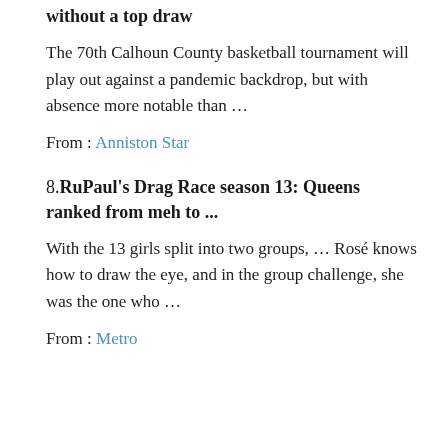without a top draw
The 70th Calhoun County basketball tournament will play out against a pandemic backdrop, but with absence more notable than …
From : Anniston Star
8.RuPaul's Drag Race season 13: Queens ranked from meh to ...
With the 13 girls split into two groups, … Rosé knows how to draw the eye, and in the group challenge, she was the one who …
From : Metro